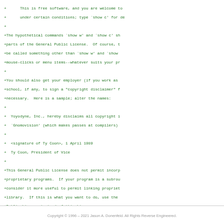+      This is free software, and you are welcome to
+      under certain conditions; type `show c' for de
+
+The hypothetical commands `show w' and `show c' sh
+parts of the General Public License.  Of course, t
+be called something other than `show w' and `show
+mouse-clicks or menu items--whatever suits your pr
+
+You should also get your employer (if you work as
+school, if any, to sign a "copyright disclaimer" f
+necessary.  Here is a sample; alter the names:
+
+  Yoyodyne, Inc., hereby disclaims all copyright i
+  `Gnomovision' (which makes passes at compilers)
+
+  <signature of Ty Coon>, 1 April 1989
+  Ty Coon, President of Vice
+
+This General Public License does not permit incorp
+proprietary programs.  If your program is a subrou
+consider it more useful to permit linking propriet
+library.  If this is what you want to do, use the
+Public License instead of this License.
Copyright © 1996 – 2021 Jason A. Donenfeld. All Rights Reverse Engineered.